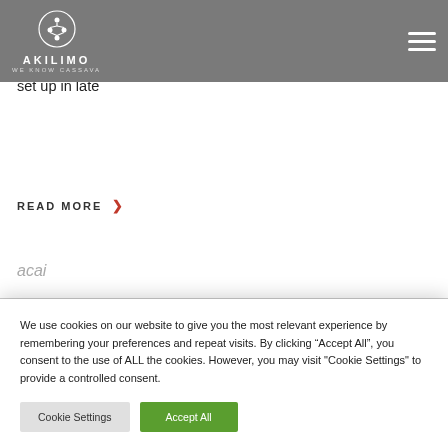[Figure (logo): Akilimo 'We Know Cassava' logo with tree/network icon in white on grey background]
has set the 2018 calendar of activities around running validation trails for the six decision support tools that the project is developing. The first validation trails being set up in late
READ MORE ›
acai
We use cookies on our website to give you the most relevant experience by remembering your preferences and repeat visits. By clicking “Accept All”, you consent to the use of ALL the cookies. However, you may visit "Cookie Settings" to provide a controlled consent.